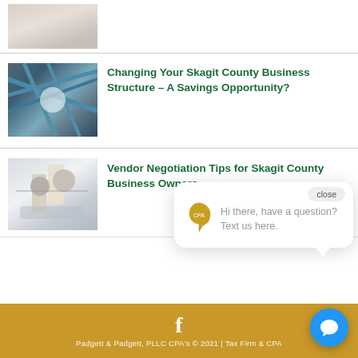[Figure (photo): Partial top image of hands on paper/desk, cropped]
[Figure (photo): Steel structural framework/girders, blue tones]
Changing Your Skagit County Business Structure – A Savings Opportunity?
[Figure (photo): Business people in a meeting around a glass table]
Vendor Negotiation Tips for Skagit County Business Owners
close
Hi there, have a question? Text us here.
Padgett & Padgett, PLLC CPA's © 2021 | Tax Firm & CPA